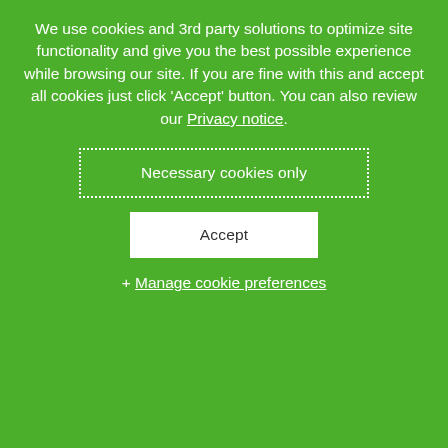We use cookies and 3rd party solutions to optimize site functionality and give you the best possible experience while browsing our site. If you are fine with this and accept all cookies just click 'Accept' button. You can also review our Privacy notice.
Necessary cookies only
Accept
+ Manage cookie preferences
and enable pre-emptive changes in machine operations to optimize machine efficiency and product quality.
Information about the customer Progroup AG
Progroup AG, located in Landau in the German state of Rhineland-Palatinate, Germany, is one of the leading manufacturers of containerboard and corrugated board in Europe. Since it was founded in 1991 in Offenbach/Queich, the company has been pursuing a consistent growth strategy which, in addition to technological leadership, is also based on the use of innovative and environmentally friendly production